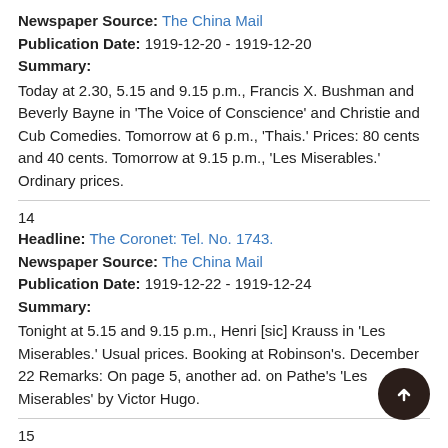Newspaper Source: The China Mail
Publication Date: 1919-12-20 - 1919-12-20
Summary:
Today at 2.30, 5.15 and 9.15 p.m., Francis X. Bushman and Beverly Bayne in 'The Voice of Conscience' and Christie and Cub Comedies. Tomorrow at 6 p.m., 'Thais.' Prices: 80 cents and 40 cents. Tomorrow at 9.15 p.m., 'Les Miserables.' Ordinary prices.
14
Headline: The Coronet: Tel. No. 1743.
Newspaper Source: The China Mail
Publication Date: 1919-12-22 - 1919-12-24
Summary:
Tonight at 5.15 and 9.15 p.m., Henri [sic] Krauss in 'Les Miserables.' Usual prices. Booking at Robinson's. December 22 Remarks: On page 5, another ad. on Pathe's 'Les Miserables' by Victor Hugo.
15
Headline: Bijou